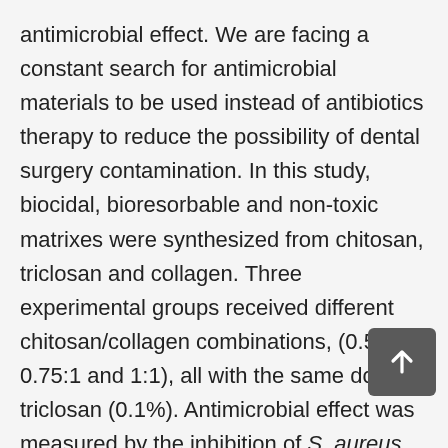antimicrobial effect. We are facing a constant search for antimicrobial materials to be used instead of antibiotics therapy to reduce the possibility of dental surgery contamination. In this study, biocidal, bioresorbable and non-toxic matrixes were synthesized from chitosan, triclosan and collagen. Three experimental groups received different chitosan/collagen combinations, (0.5:1, 0.75:1 and 1:1), all with the same dose of triclosan (0.1%). Antimicrobial effect was measured by the inhibition of S. aureus growth. Moreover, matrixes were placed in a PBS-collagenase solution to measure degradation over time; matrix residues were evaluated at 1, 4, and 7 days. Finally, cell toxicity of each matrix was analyzed on NIH-3T3 fibroblast cells. As a result, inhibition of S. aureus growth was similar in the three